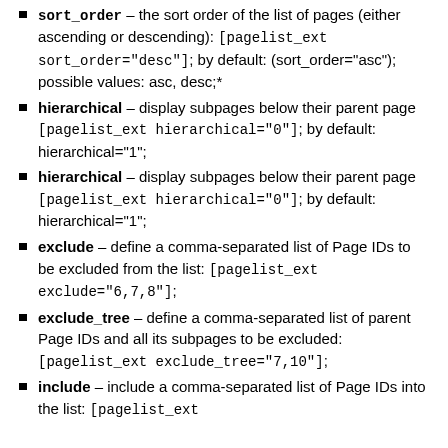sort_order – the sort order of the list of pages (either ascending or descending): [pagelist_ext sort_order="desc"]; by default: (sort_order="asc"); possible values: asc, desc;*
hierarchical – display subpages below their parent page [pagelist_ext hierarchical="0"]; by default: hierarchical="1";
hierarchical – display subpages below their parent page [pagelist_ext hierarchical="0"]; by default: hierarchical="1";
exclude – define a comma-separated list of Page IDs to be excluded from the list: [pagelist_ext exclude="6,7,8"];
exclude_tree – define a comma-separated list of parent Page IDs and all its subpages to be excluded: [pagelist_ext exclude_tree="7,10"];
include – include a comma-separated list of Page IDs into the list: [pagelist_ext